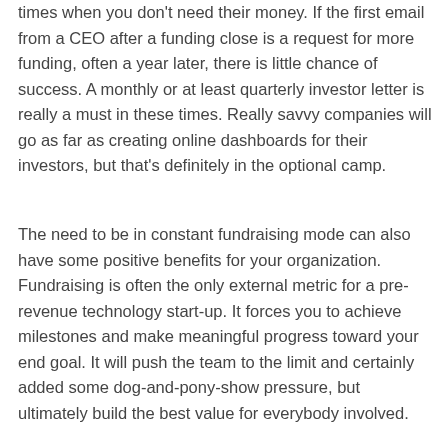times when you don't need their money. If the first email from a CEO after a funding close is a request for more funding, often a year later, there is little chance of success. A monthly or at least quarterly investor letter is really a must in these times. Really savvy companies will go as far as creating online dashboards for their investors, but that's definitely in the optional camp.
The need to be in constant fundraising mode can also have some positive benefits for your organization. Fundraising is often the only external metric for a pre-revenue technology start-up. It forces you to achieve milestones and make meaningful progress toward your end goal. It will push the team to the limit and certainly added some dog-and-pony-show pressure, but ultimately build the best value for everybody involved.